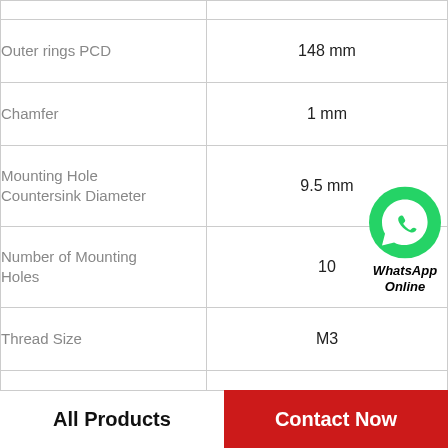| Property | Value |
| --- | --- |
| Outer rings PCD | 148 mm |
| Chamfer | 1 mm |
| Mounting Hole Countersink Diameter | 9.5 mm |
| Number of Mounting Holes | 10 |
| Thread Size | M3 |
| Mounting Hole Countersink Depth | 5.4 mm |
| D | 165 mm |
[Figure (logo): WhatsApp Online badge — green circle with phone handset icon, text 'WhatsApp Online' in bold italic]
All Products
Contact Now